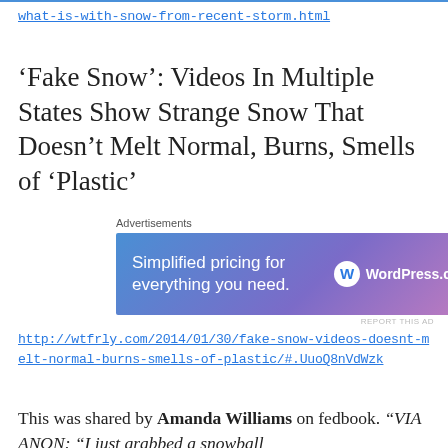what-is-with-snow-from-recent-storm.html
'Fake Snow': Videos In Multiple States Show Strange Snow That Doesn't Melt Normal, Burns, Smells of 'Plastic'
[Figure (other): WordPress.com advertisement banner: 'Simplified pricing for everything you need.' with WordPress.com logo]
http://wtfrly.com/2014/01/30/fake-snow-videos-doesnt-melt-normal-burns-smells-of-plastic/#.UuoQ8nVdWzk
This was shared by Amanda Williams on fedbook. "VIA ANON: "I just grabbed a snowball